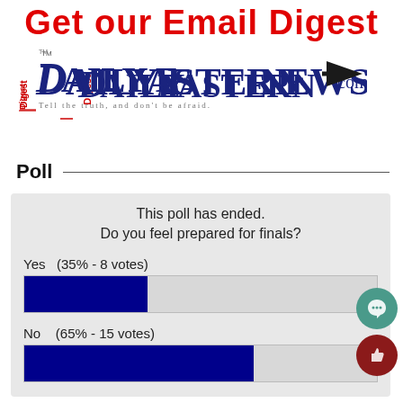Get our Email Digest
[Figure (logo): Daily Eastern News logo with 'Digest' written vertically on left, tagline 'Tell the truth, and don't be afraid.' and a black arrow pointing left]
Poll
[Figure (bar-chart): Poll results bar chart: Yes (35% - 8 votes), No (65% - 15 votes). Poll has ended.]